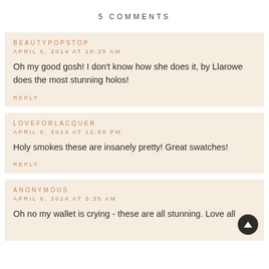5 COMMENTS
BEAUTYPOPSTOP
APRIL 5, 2014 AT 10:35 AM
Oh my good gosh! I don't know how she does it, by Llarowe does the most stunning holos!
REPLY
LOVEFORLACQUER
APRIL 5, 2014 AT 12:58 PM
Holy smokes these are insanely pretty! Great swatches!
REPLY
ANONYMOUS
APRIL 6, 2014 AT 3:35 AM
Oh no my wallet is crying - these are all stunning. Love all